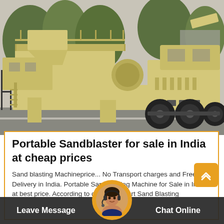[Figure (photo): Large yellow/beige mobile crushing/screening machine (portable sandblaster/jaw crusher on wheels) parked on a street with trees in the background]
Portable Sandblaster for sale in India at cheap prices
Sand blasting Machineprice... No Transport charges and Free Delivery in India. Portable Sandblasting Machine for Sale in India at best price. According to different report Sand Blasting
Leave Message   Chat Online